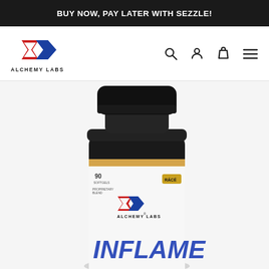BUY NOW, PAY LATER WITH SEZZLE!
[Figure (logo): Alchemy Labs logo with red and blue arrow shapes and text ALCHEMY LABS]
[Figure (photo): Alchemy Labs INFLAME supplement bottle with black cap, white label with gold stripe, showing Alchemy Labs logo and INFLAME product name in blue text]